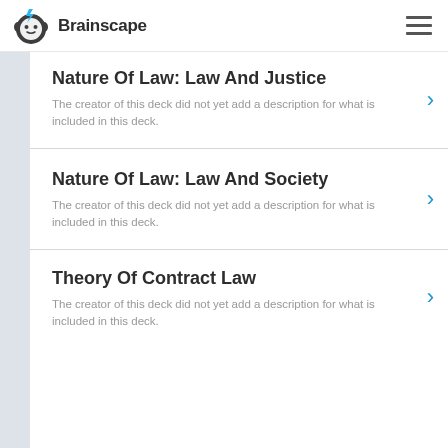Brainscape
Nature Of Law: Law And Justice
The creator of this deck did not yet add a description for what is included in this deck.
Nature Of Law: Law And Society
The creator of this deck did not yet add a description for what is included in this deck.
Theory Of Contract Law
The creator of this deck did not yet add a description for what is included in this deck.